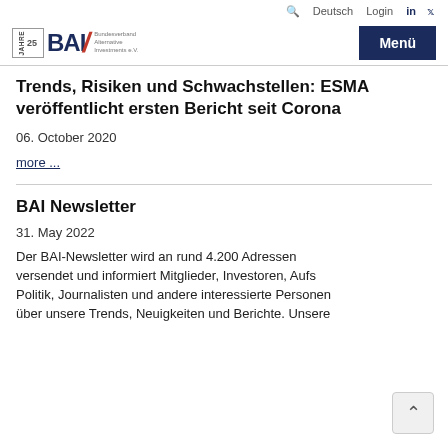🔍  Deutsch  Login  in  𝕏
[Figure (logo): BAI Bundesverband Alternative Investments logo with '25 JAHRE' text, BAI lettering in dark blue with red slash, and small tagline text. Menu button in dark blue on the right.]
Trends, Risiken und Schwachstellen: ESMA veröffentlicht ersten Bericht seit Corona
06. October 2020
more ...
BAI Newsletter
31. May 2022
Der BAI-Newsletter wird an rund 4.200 Adressen versendet und informiert Mitglieder, Investoren, Aufs Politik, Journalisten und andere interessierte Personen über unsere Trends, Neuigkeiten und Berichte. Unsere...